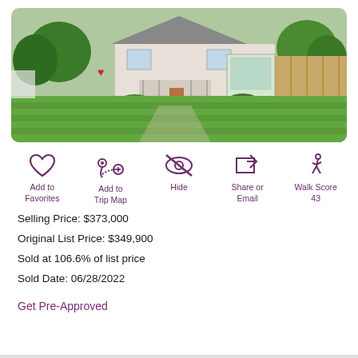[Figure (photo): Exterior photo of a two-story suburban house with a large green lawn, trees, and a wooden fence in the background.]
Add to Favorites
Add to Trip Map
Hide
Share or Email
Walk Score 43
Selling Price: $373,000
Original List Price: $349,900
Sold at 106.6% of list price
Sold Date: 06/28/2022
Get Pre-Approved